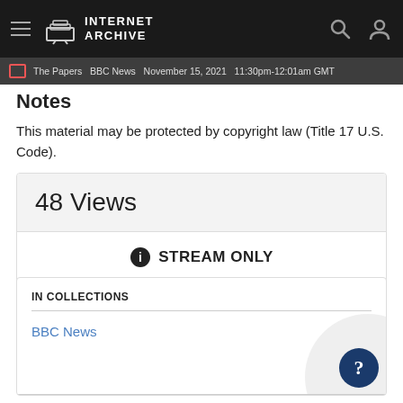INTERNET ARCHIVE
The Papers BBC News November 15, 2021 11:30pm-12:01am GMT
Notes
This material may be protected by copyright law (Title 17 U.S. Code).
48 Views
ℹ STREAM ONLY
IN COLLECTIONS
BBC News